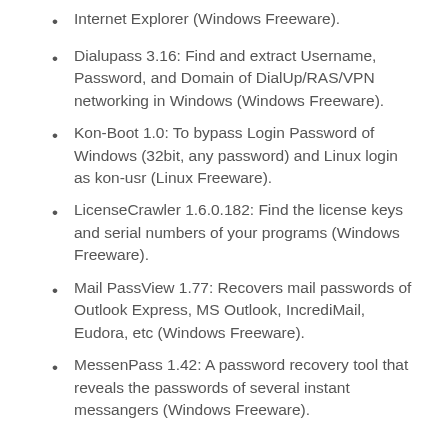Internet Explorer (Windows Freeware).
Dialupass 3.16: Find and extract Username, Password, and Domain of DialUp/RAS/VPN networking in Windows (Windows Freeware).
Kon-Boot 1.0: To bypass Login Password of Windows (32bit, any password) and Linux login as kon-usr (Linux Freeware).
LicenseCrawler 1.6.0.182: Find the license keys and serial numbers of your programs (Windows Freeware).
Mail PassView 1.77: Recovers mail passwords of Outlook Express, MS Outlook, IncrediMail, Eudora, etc (Windows Freeware).
MessenPass 1.42: A password recovery tool that reveals the passwords of several instant messangers (Windows Freeware).